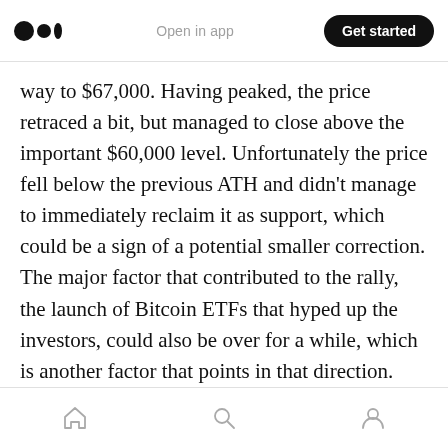Open in app | Get started
way to $67,000. Having peaked, the price retraced a bit, but managed to close above the important $60,000 level. Unfortunately the price fell below the previous ATH and didn't manage to immediately reclaim it as support, which could be a sign of a potential smaller correction. The major factor that contributed to the rally, the launch of Bitcoin ETFs that hyped up the investors, could also be over for a while, which is another factor that points in that direction.
On the flip side Ethereum managed to barely
Home | Search | Profile